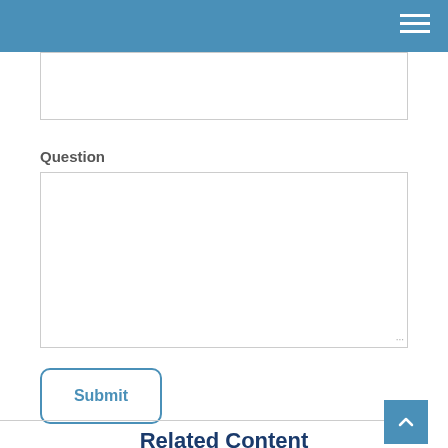Question
Submit
Related Content